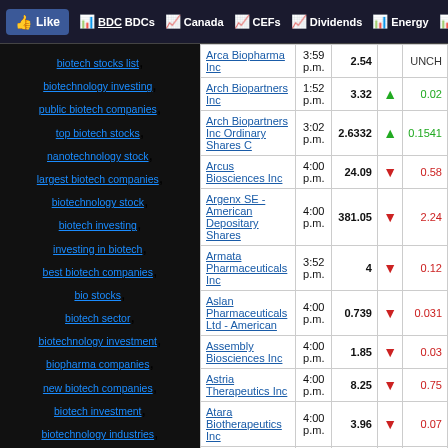Like | BDCs | Canada | CEFs | Dividends | Energy | B...
biotech stocks list, biotechnology investing, public biotech companies, top biotech stocks, nanotechnology stock, largest biotech companies, biotechnology stock, biotech investing, investing in biotech, best biotech companies, bio stocks, biotech sector, biotechnology investment, biopharma companies, new biotech companies, biotech investment, biotechnology industries, nanotech stocks, biotech stocks, biotechnology articles, biotechnology news, business stocks, service stocks, chemical companies, chemical industries, chemical industry, chemical company, chemicals company, cigarette stock, cigarette company stocks, cigarette stock symbols, tobacco company stocks, tobacco stock, cigar stocks, communications stocks, communication stock, computer peripherals companies, computer peripherals, computer stocks
| Company | Time | Price | △ | Change |
| --- | --- | --- | --- | --- |
| Arca Biopharma Inc | 3:59 p.m. | 2.54 | UNCH |  |
| Arch Biopartners Inc | 1:52 p.m. | 3.32 | ▲ | 0.02 |
| Arch Biopartners Inc Ordinary Shares C | 3:02 p.m. | 2.6332 | ▲ | 0.1541 |
| Arcus Biosciences Inc | 4:00 p.m. | 24.09 | ▼ | 0.58 |
| Argenx SE - American Depositary Shares | 4:00 p.m. | 381.05 | ▼ | 2.24 |
| Armata Pharmaceuticals Inc | 3:52 p.m. | 4 | ▼ | 0.12 |
| Aslan Pharmaceuticals Ltd - American | 4:00 p.m. | 0.739 | ▼ | 0.031 |
| Assembly Biosciences Inc | 4:00 p.m. | 1.85 | ▼ | 0.03 |
| Astria Therapeutics Inc | 4:00 p.m. | 8.25 | ▼ | 0.75 |
| Atara Biotherapeutics Inc | 4:00 p.m. | 3.96 | ▼ | 0.07 |
| Atreca Inc - Class A | 4:00 p.m. | 2 | ▼ | 0.02 |
| Atyr Pharma Inc | 4:00 p.m. | 3.40 | ▼ | 0.09 |
| Aurinia Pharmaceuticals Inchares | 4:00 p.m. | 7.51 | UNCH |  |
| Autolus |  |  |  |  |